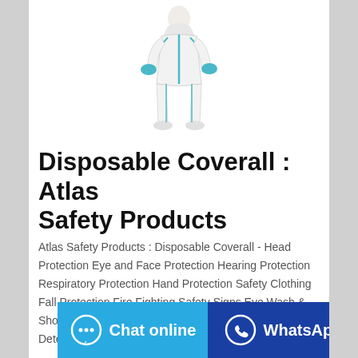[Figure (photo): A person wearing a white disposable coverall suit with blue accents and gloves, standing upright]
Disposable Coverall : Atlas Safety Products
Atlas Safety Products : Disposable Coverall - Head Protection Eye and Face Protection Hearing Protection Respiratory Protection Hand Protection Safety Clothing Fall Protection Fire Fighting Safety Signs Eye Wash & Showers Traffic and Road Safety Welding Solutions Detectors & Instruments Electrical Safety Solutions Foot
Chat online | WhatsApp